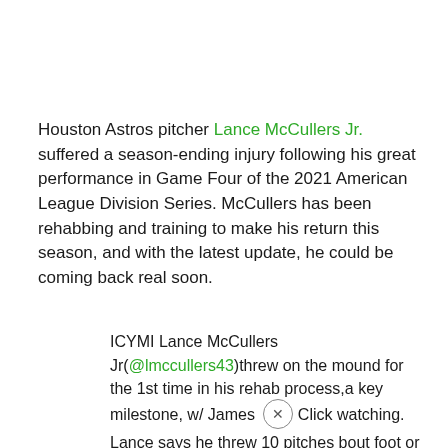Houston Astros pitcher Lance McCullers Jr. suffered a season-ending injury following his great performance in Game Four of the 2021 American League Division Series. McCullers has been rehabbing and training to make his return this season, and with the latest update, he could be coming back real soon.
ICYMI Lance McCullers Jr(@lmccullers43)threw on the mound for the 1st time in his rehab process,a key milestone, w/ James Click watching. Lance says he threw 10 pitches bout foot or 2 n